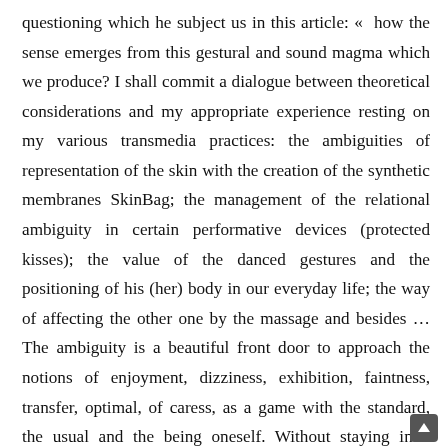questioning which he subject us in this article: «  how the sense emerges from this gestural and sound magma which we produce? I shall commit a dialogue between theoretical considerations and my appropriate experience resting on my various transmedia practices: the ambiguities of representation of the skin with the creation of the synthetic membranes SkinBag; the management of the relational ambiguity in certain performative devices (protected kisses); the value of the danced gestures and the positioning of his (her) body in our everyday life; the way of affecting the other one by the massage and besides … The ambiguity is a beautiful front door to approach the notions of enjoyment, dizziness, exhibition, faintness, transfer, optimal, of caress, as a game with the standard, the usual and the being oneself. Without staying in a description of the ambiguous gestures, the heart of my project there is to succeed in embodying them. Semantic bugs will make way for a time of improvisation with an endangerment of the body, on the verge of madness and on the